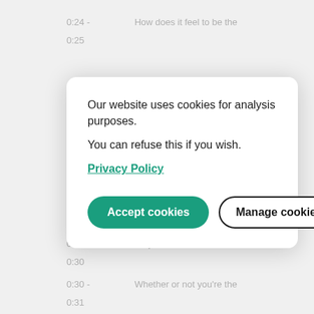0:24 -   How does it feel to be the
0:25
Our website uses cookies for analysis purposes.

You can refuse this if you wish.

Privacy Policy
[Figure (screenshot): Cookie consent modal dialog with 'Accept cookies' (teal rounded button) and 'Manage cookies' (outlined rounded button)]
0:29 -   Why does it even matter
0:30
0:30 -   Whether or not you're the
0:31